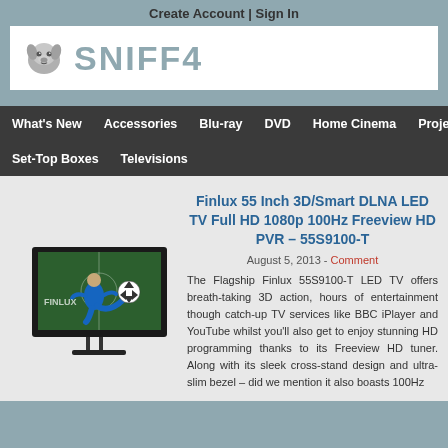Create Account | Sign In
[Figure (logo): SNIFF4 logo with dog mascot and grey stylized text]
What's New
Accessories
Blu-ray
DVD
Home Cinema
Projectors
Set-Top Boxes
Televisions
[Figure (photo): Finlux TV with footballer kicking a football out of the screen in 3D]
Finlux 55 Inch 3D/Smart DLNA LED TV Full HD 1080p 100Hz Freeview HD PVR – 55S9100-T
August 5, 2013 - Comment
The Flagship Finlux 55S9100-T LED TV offers breath-taking 3D action, hours of entertainment though catch-up TV services like BBC iPlayer and YouTube whilst you'll also get to enjoy stunning HD programming thanks to its Freeview HD tuner. Along with its sleek cross-stand design and ultra-slim bezel – did we mention it also boasts 100Hz